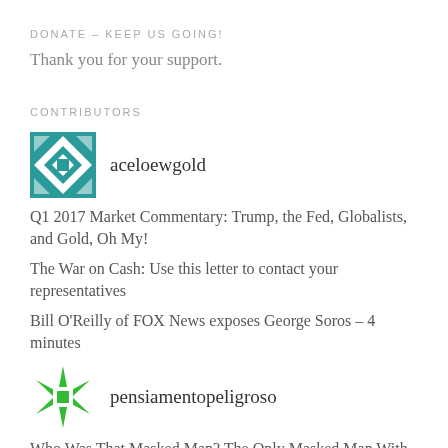DONATE – KEEP US GOING!
Thank you for your support.
CONTRIBUTORS
[Figure (logo): Teal and white geometric diamond pattern avatar for user aceloewgold]
aceloewgold
Q1 2017 Market Commentary: Trump, the Fed, Globalists, and Gold, Oh My!
The War on Cash: Use this letter to contact your representatives
Bill O'Reilly of FOX News exposes George Soros – 4 minutes
[Figure (logo): Green and white geometric sunburst/pinwheel pattern avatar for user pensiamentopeligroso]
pensiamentopeligroso
Who Was That Masked Man? The Only Masked Man With Any Credibility With Me!